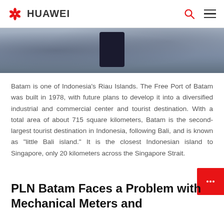HUAWEI
[Figure (photo): Partial photo of a person in a blue plaid shirt working at a desk with a tablet device, cropped to show only the upper portion]
Batam is one of Indonesia's Riau Islands. The Free Port of Batam was built in 1978, with future plans to develop it into a diversified industrial and commercial center and tourist destination. With a total area of about 715 square kilometers, Batam is the second-largest tourist destination in Indonesia, following Bali, and is known as "little Bali island." It is the closest Indonesian island to Singapore, only 20 kilometers across the Singapore Strait.
PLN Batam Faces a Problem with Mechanical Meters and Dedicated Meter Reading